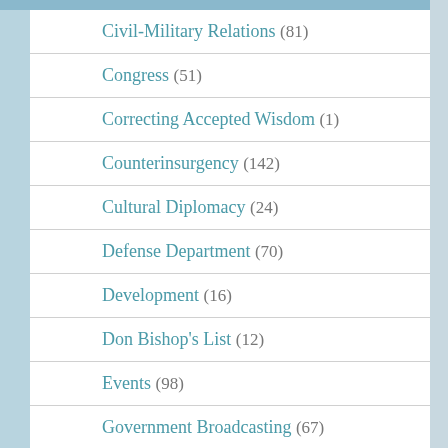Civil-Military Relations (81)
Congress (51)
Correcting Accepted Wisdom (1)
Counterinsurgency (142)
Cultural Diplomacy (24)
Defense Department (70)
Development (16)
Don Bishop's List (12)
Events (98)
Government Broadcasting (67)